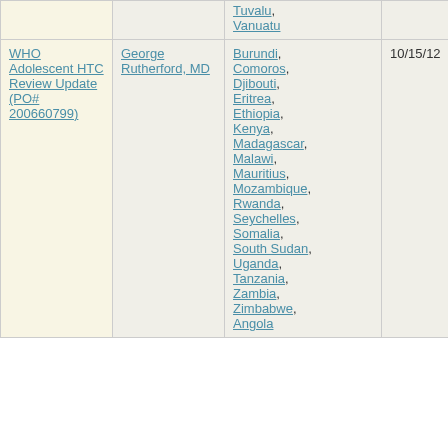|  |  | Tuvalu, Vanuatu |  |  |
| WHO Adolescent HTC Review Update (PO# 200660799) | George Rutherford, MD | Burundi, Comoros, Djibouti, Eritrea, Ethiopia, Kenya, Madagascar, Malawi, Mauritius, Mozambique, Rwanda, Seychelles, Somalia, South Sudan, Uganda, Tanzania, Zambia, Zimbabwe, Angola | 10/15/12 | 3/31/13 |